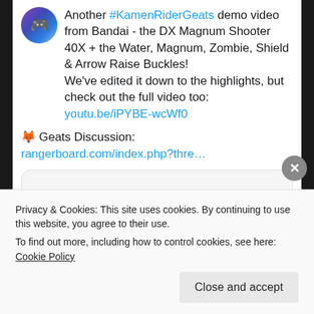Another #KamenRiderGeats demo video from Bandai - the DX Magnum Shooter 40X + the Water, Magnum, Zombie, Shield & Arrow Raise Buckles! We've edited it down to the highlights, but check out the full video too: youtu.be/iPYBE-wcWf0
🦊 Geats Discussion: rangerboard.com/index.php?thre…
[Figure (screenshot): Embedded video player with blue play button icon visible]
Privacy & Cookies: This site uses cookies. By continuing to use this website, you agree to their use. To find out more, including how to control cookies, see here: Cookie Policy
Close and accept